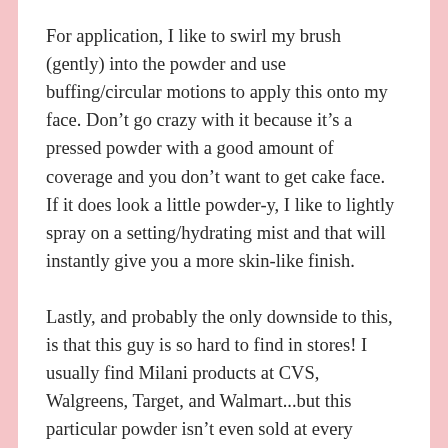For application, I like to swirl my brush (gently) into the powder and use buffing/circular motions to apply this onto my face. Don't go crazy with it because it's a pressed powder with a good amount of coverage and you don't want to get cake face. If it does look a little powder-y, I like to lightly spray on a setting/hydrating mist and that will instantly give you a more skin-like finish.
Lastly, and probably the only downside to this, is that this guy is so hard to find in stores! I usually find Milani products at CVS, Walgreens, Target, and Walmart...but this particular powder isn't even sold at every Milani retailer. I know a couple stores that carry it, but since I moved to Dallas I have yet to come across this product in person. I just buy it